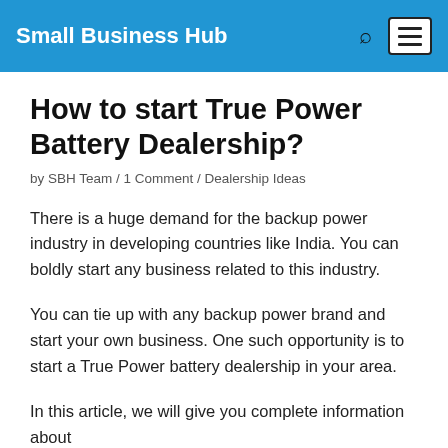Small Business Hub
How to start True Power Battery Dealership?
by SBH Team / 1 Comment / Dealership Ideas
There is a huge demand for the backup power industry in developing countries like India. You can boldly start any business related to this industry.
You can tie up with any backup power brand and start your own business. One such opportunity is to start a True Power battery dealership in your area.
In this article, we will give you complete information about